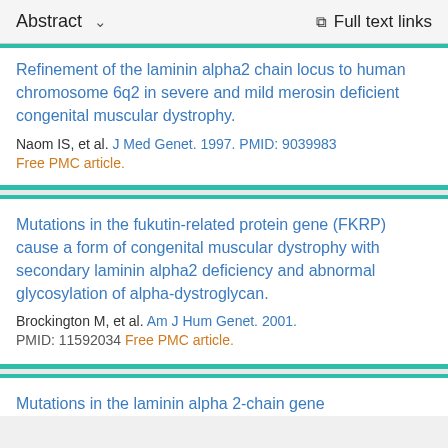Abstract ∨   Full text links
Refinement of the laminin alpha2 chain locus to human chromosome 6q2 in severe and mild merosin deficient congenital muscular dystrophy.
Naom IS, et al. J Med Genet. 1997. PMID: 9039983
Free PMC article.
Mutations in the fukutin-related protein gene (FKRP) cause a form of congenital muscular dystrophy with secondary laminin alpha2 deficiency and abnormal glycosylation of alpha-dystroglycan.
Brockington M, et al. Am J Hum Genet. 2001.
PMID: 11592034 Free PMC article.
Mutations in the laminin alpha 2-chain gene